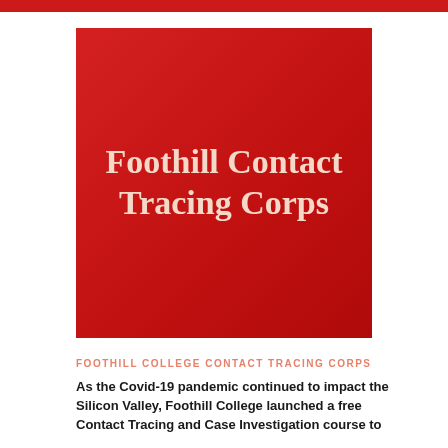[Figure (illustration): Red square background with text 'Foothill Contact Tracing Corps' in cream/beige serif font]
FOOTHILL COLLEGE CONTACT TRACING CORPS
As the Covid-19 pandemic continued to impact the Silicon Valley, Foothill College launched a free Contact Tracing and Case Investigation course to